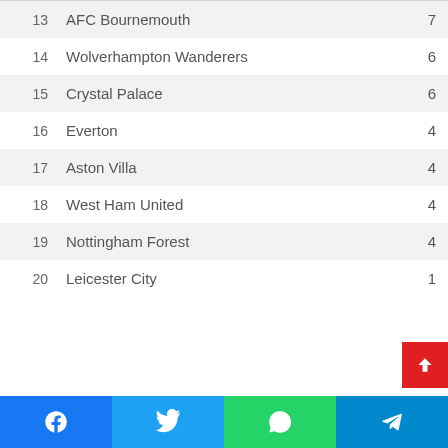| # | Club | Pts |
| --- | --- | --- |
| 13 | AFC Bournemouth | 7 |
| 14 | Wolverhampton Wanderers | 6 |
| 15 | Crystal Palace | 6 |
| 16 | Everton | 4 |
| 17 | Aston Villa | 4 |
| 18 | West Ham United | 4 |
| 19 | Nottingham Forest | 4 |
| 20 | Leicester City | 1 |